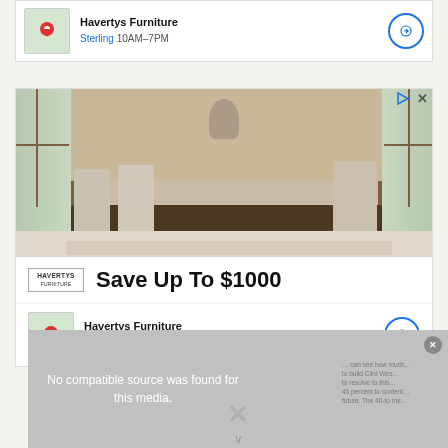[Figure (screenshot): Top advertisement strip showing Havertys Furniture map thumbnail with location pin, business name, Sterling 10AM-7PM hours, and navigation circle button]
Havertys Furniture
Sterling 10AM–7PM
[Figure (photo): Havertys Furniture advertisement showing a dining room set with a large wooden table and upholstered chairs in a room with tall windows]
Save Up To $1000
Havertys Furniture
Sterling 10AM–7PM
No compatible source was found for this media.